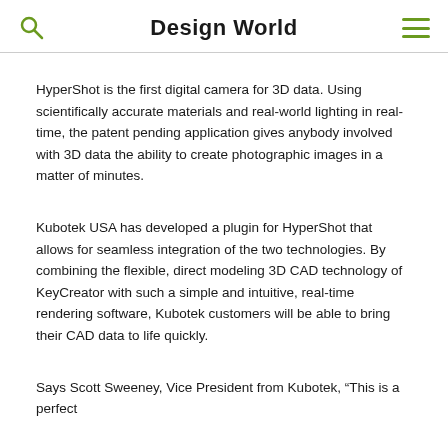Design World
HyperShot is the first digital camera for 3D data. Using scientifically accurate materials and real-world lighting in real-time, the patent pending application gives anybody involved with 3D data the ability to create photographic images in a matter of minutes.
Kubotek USA has developed a plugin for HyperShot that allows for seamless integration of the two technologies. By combining the flexible, direct modeling 3D CAD technology of KeyCreator with such a simple and intuitive, real-time rendering software, Kubotek customers will be able to bring their CAD data to life quickly.
Says Scott Sweeney, Vice President from Kubotek, “This is a perfect